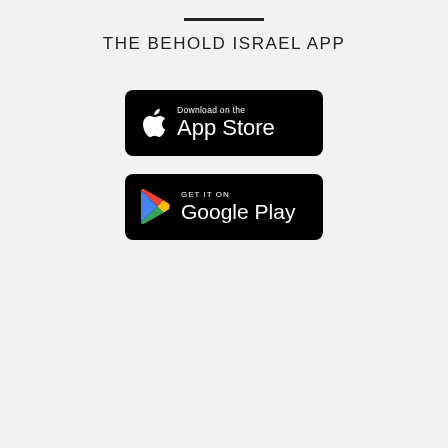THE BEHOLD ISRAEL APP
[Figure (logo): App Store download badge — black rounded rectangle with Apple logo icon on left, 'Download on the' in small text above 'App Store' in large text, white text on black background]
[Figure (logo): Google Play download badge — black rounded rectangle with colorful Google Play triangle logo on left, 'GET IT ON' in small text above 'Google Play' in large text, white text on black background]